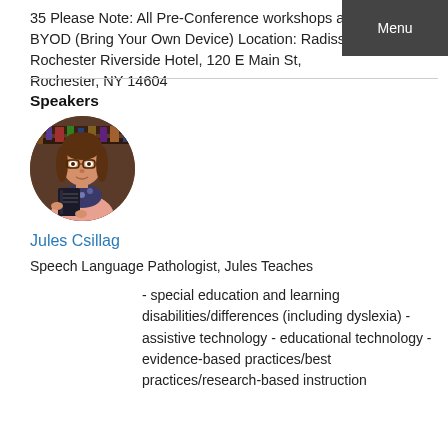35 Please Note: All Pre-Conference workshops are BYOD (Bring Your Own Device) Location: Radisson Rochester Riverside Hotel, 120 E Main St, Rochester, NY 14604
Menu
Speakers
[Figure (photo): Circular portrait photo of Jules Csillag, a woman with glasses holding a book, wearing a floral scarf and pink top]
Jules Csillag
Speech Language Pathologist, Jules Teaches
- special education and learning disabilities/differences (including dyslexia) - assistive technology - educational technology - evidence-based practices/best practices/research-based instruction